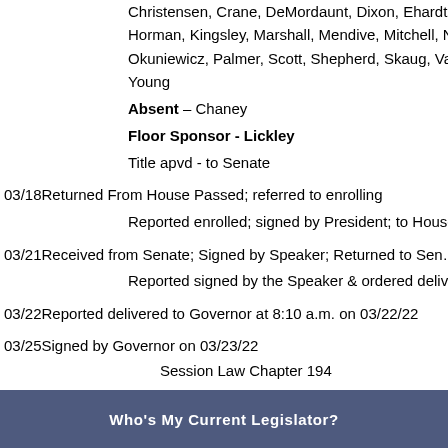Christensen, Crane, DeMordaunt, Dixon, Ehardt(Zollinger), Horman, Kingsley, Marshall, Mendive, Mitchell, Nate, Nichols, Okuniewicz, Palmer, Scott, Shepherd, Skaug, Vander Woude, Young
Absent – Chaney
Floor Sponsor - Lickley
Title apvd - to Senate
03/18 Returned From House Passed; referred to enrolling
Reported enrolled; signed by President; to House for signature
03/21 Received from Senate; Signed by Speaker; Returned to Senate
Reported signed by the Speaker & ordered delivered to Governor
03/22 Reported delivered to Governor at 8:10 a.m. on 03/22/22
03/25 Signed by Governor on 03/23/22
Session Law Chapter 194
Effective: 07/01/2022
Who's My Current Legislator?